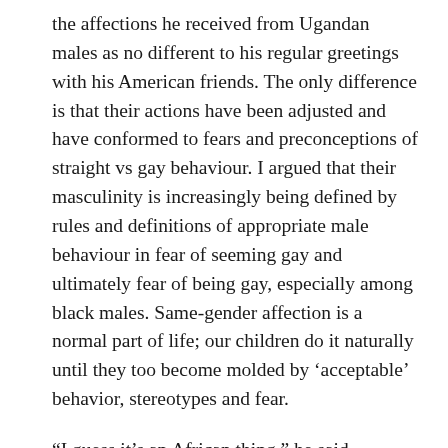the affections he received from Ugandan males as no different to his regular greetings with his American friends. The only difference is that their actions have been adjusted and have conformed to fears and preconceptions of straight vs gay behaviour. I argued that their masculinity is increasingly being defined by rules and definitions of appropriate male behaviour in fear of seeming gay and ultimately fear of being gay, especially among black males. Same-gender affection is a normal part of life; our children do it naturally until they too become molded by ‘acceptable’ behavior, stereotypes and fear.
“I guess it’s an African thing,” he said.